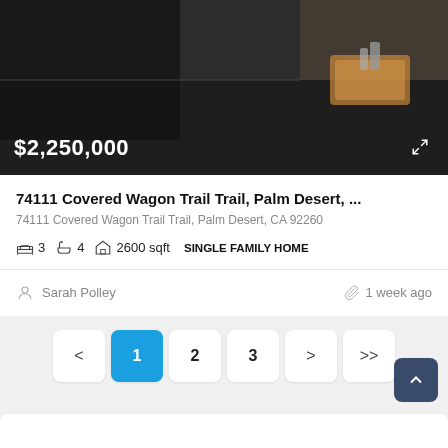[Figure (photo): Interior kitchen/countertop photo of a luxury home with dark surfaces and wooden accent tray]
$2,250,000
74111 Covered Wagon Trail Trail, Palm Desert, ...
74111 Covered Wagon Trail Trail, Palm Desert, CA 92260
3  4  2600 sqft  SINGLE FAMILY HOME
Sarah Polley
1 week ago
1  2  3